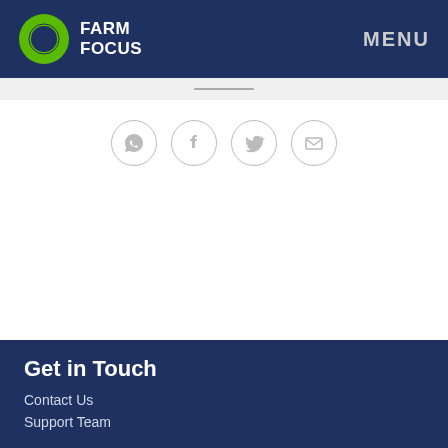FARM FOCUS   MENU
[Figure (infographic): Social sharing icons row: WhatsApp, Facebook, Twitter, Email — each in a light grey circle outline]
Get in Touch
Contact Us
Support Team